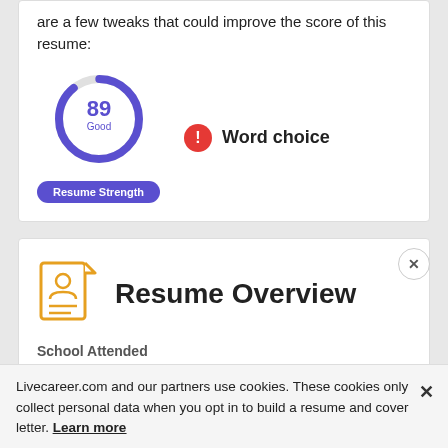are a few tweaks that could improve the score of this resume:
[Figure (donut-chart): Resume Strength]
Word choice
Resume Strength
Resume Overview
School Attended
Livecareer.com and our partners use cookies. These cookies only collect personal data when you opt in to build a resume and cover letter. Learn more